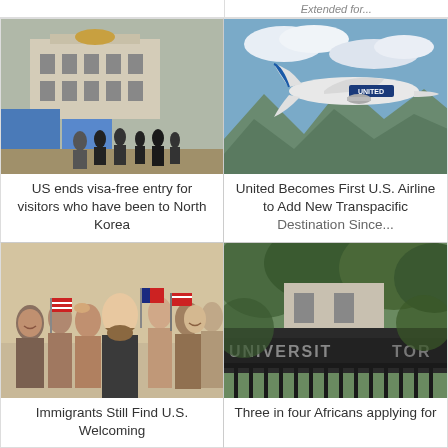Extended for...
[Figure (photo): People standing at the Korean Demilitarized Zone with blue buildings in the background]
US ends visa-free entry for visitors who have been to North Korea
[Figure (photo): United Airlines airplane flying over mountainous terrain]
United Becomes First U.S. Airline to Add New Transpacific Destination Since...
[Figure (photo): Crowd of people waving American flags, smiling and celebrating]
Immigrants Still Find U.S. Welcoming
[Figure (photo): University of Toronto sign on iron gate surrounded by trees]
Three in four Africans applying for